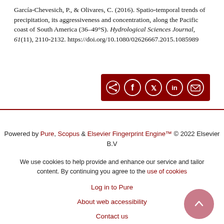García-Chevesich, P., & Olivares, C. (2016). Spatio-temporal trends of precipitation, its aggressiveness and concentration, along the Pacific coast of South America (36–49°S). Hydrological Sciences Journal, 61(11), 2110-2132. https://doi.org/10.1080/02626667.2015.1085989
[Figure (other): Dark red share bar with social media icons: share, Facebook, Twitter, LinkedIn, email]
Powered by Pure, Scopus & Elsevier Fingerprint Engine™ © 2022 Elsevier B.V
We use cookies to help provide and enhance our service and tailor content. By continuing you agree to the use of cookies
Log in to Pure
About web accessibility
Contact us